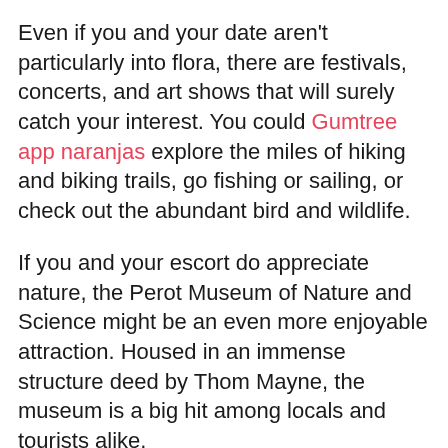Even if you and your date aren't particularly into flora, there are festivals, concerts, and art shows that will surely catch your interest. You could Gumtree app naranjas explore the miles of hiking and biking trails, go fishing or sailing, or check out the abundant bird and wildlife.
If you and your escort do appreciate nature, the Perot Museum of Nature and Science might be an even more enjoyable attraction. Housed in an immense structure deed by Thom Mayne, the museum is a big hit among locals and tourists alike.
In addition to the extensive nature displays, it is one of the most captivating displays of sustainability in the Dallas area, and there is sure to be something that will grab your attention. Of particular interest are the water conservation mechanisms that draw condensation from air conditioners and drip Single lady looking for hot sex